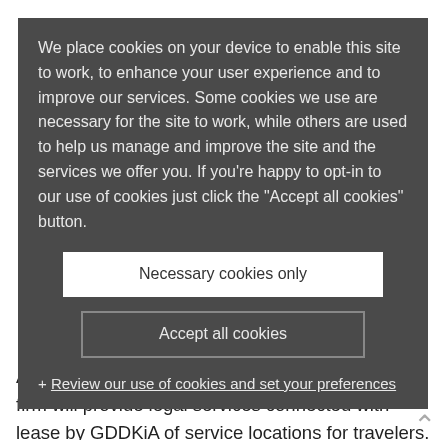General Directorate for National Roads and Motorways (GDDKiA) represented by Mr. Tomasz Żuchowski – the Acting Director of GDDKiA.
The procurement includes legal advisory services for road projects carried out by GDDKiA.
the A2 motorway corridor across Poland, and
other national roads indicated by GDDKiA during
intended to be executed based on a public-private partnership model.
We place cookies on your device to enable this site to work, to enhance your user experience and to improve our services. Some cookies we use are necessary for the site to work, while others are used to help us manage and improve the site and the services we offer you. If you're happy to opt-in to our use of cookies just click the "Accept all cookies" button.
Necessary cookies only
Accept all cookies
+ Review our use of cookies and set your preferences
Additionally, as part of the procurement, the law firm will provide legal services connected with lease by GDDKiA of service locations for travelers.
In the last decade the firm supported GDDKiA on numerous road projects, the most important of which included: